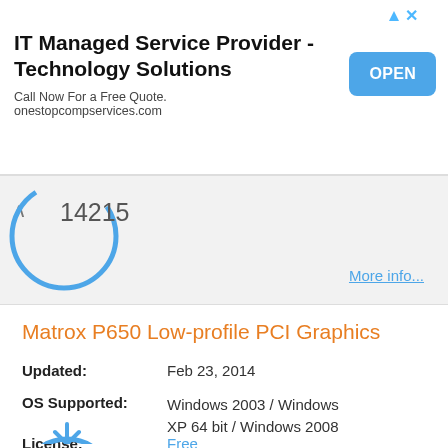[Figure (screenshot): Advertisement banner for IT Managed Service Provider with OPEN button]
IT Managed Service Provider - Technology Solutions
Call Now For a Free Quote. onestopcompservices.com
[Figure (other): Score/rating circle showing 14215 with chevron-up icon and More info link]
Matrox P650 Low-profile PCI Graphics
Updated: Feb 23, 2014
OS Supported: Windows 2003 / Windows XP 64 bit / Windows 2008
License: Free